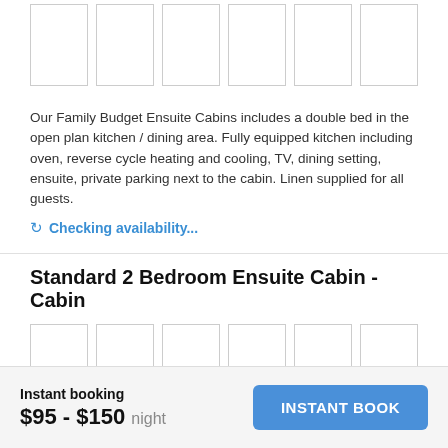[Figure (photo): Row of 6 placeholder image thumbnails for cabin photos (top section)]
Our Family Budget Ensuite Cabins includes a double bed in the open plan kitchen / dining area. Fully equipped kitchen including oven, reverse cycle heating and cooling, TV, dining setting, ensuite, private parking next to the cabin. Linen supplied for all guests.
Checking availability...
Standard 2 Bedroom Ensuite Cabin - Cabin
[Figure (photo): Two rows of 6 placeholder image thumbnails and partial third row for Standard 2 Bedroom Ensuite Cabin]
Instant booking $95 - $150 night
INSTANT BOOK